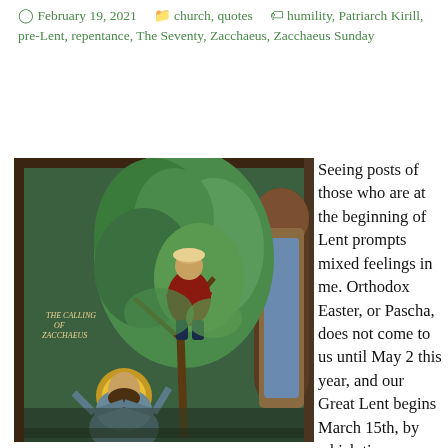February 19, 2021   church, quotes   humility, Patriarch Kirill, pre-Lent, repentance, The Seventy, Zacchaeus, Zacchaeus Sunday
[Figure (photo): A religious icon painting titled 'The Calling of Zacchaeus' showing a figure in red and dark clothing in a tree, and a haloed figure below gesturing upward, set against a deep teal-green background with decorative arches.]
Seeing posts of those who are at the beginning of Lent prompts mixed feelings in me. Orthodox Easter, or Pascha, does not come to us until May 2 this year, and our Great Lent begins March 15th, by which time western